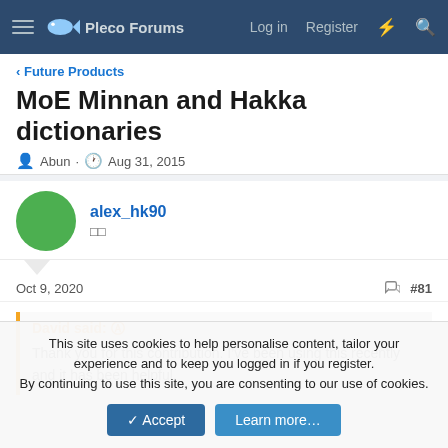Pleco Forums  Log in  Register
< Future Products
MoE Minnan and Hakka dictionaries
Abun · Aug 31, 2015
alex_hk90
Oct 9, 2020  #81
David said: ↑
Thank you for this contribution. I've been using this recently and it has been helpful.
This site uses cookies to help personalise content, tailor your experience and to keep you logged in if you register.
By continuing to use this site, you are consenting to our use of cookies.